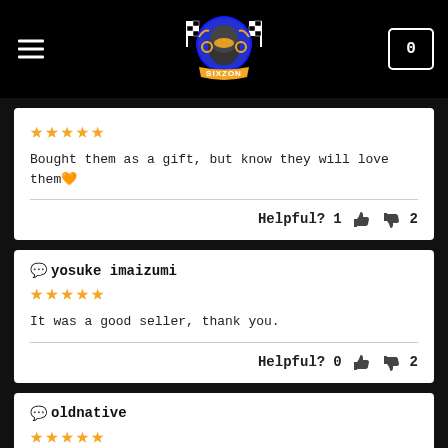SIXZON header with logo, hamburger menu, and cart icon (0)
★★★★★
Bought them as a gift, but know they will love them🧡
Helpful? 1 👍 👎 2
💬 yosuke imaizumi
★★★★★
It was a good seller, thank you.
Helpful? 0 👍 👎 2
💬 oldnative
★★★★★
Such a great Seller! Perfect communication...